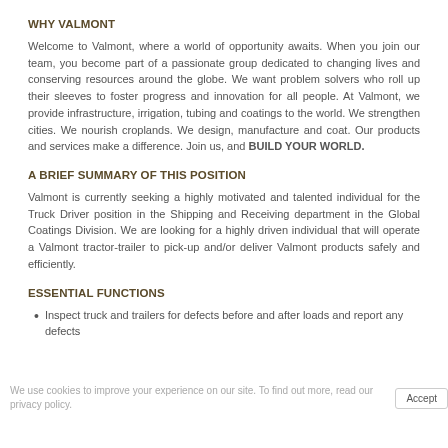WHY VALMONT
Welcome to Valmont, where a world of opportunity awaits. When you join our team, you become part of a passionate group dedicated to changing lives and conserving resources around the globe. We want problem solvers who roll up their sleeves to foster progress and innovation for all people. At Valmont, we provide infrastructure, irrigation, tubing and coatings to the world. We strengthen cities. We nourish croplands. We design, manufacture and coat. Our products and services make a difference. Join us, and BUILD YOUR WORLD.
A BRIEF SUMMARY OF THIS POSITION
Valmont is currently seeking a highly motivated and talented individual for the Truck Driver position in the Shipping and Receiving department in the Global Coatings Division. We are looking for a highly driven individual that will operate a Valmont tractor-trailer to pick-up and/or deliver Valmont products safely and efficiently.
ESSENTIAL FUNCTIONS
Inspect truck and trailers for defects before and after loads and report any defects